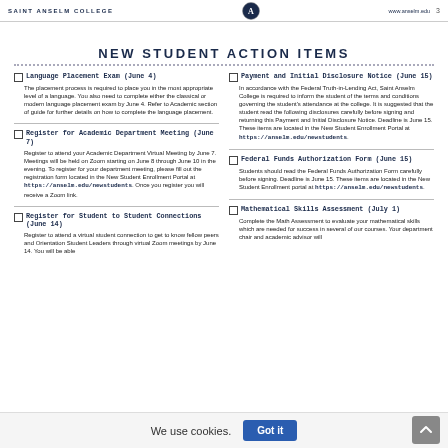SAINT ANSELM COLLEGE | www.anselm.edu | 3
NEW STUDENT ACTION ITEMS
Language Placement Exam (June 4)
The placement process is required to place you in the most appropriate level of a language. You also need to complete either the classical or modern language placement exam by June 4. Refer to Academic section of guide for further details on how to complete the language placement.
Register for Academic Department Meeting (June 7)
Register to attend your Academic Department Virtual Meeting by June 7. Meetings will be held on Zoom starting on June 8 through June 10 in the evening. To register for your department meeting, please fill out the registration form located in the New Student Enrollment Portal at https://anselm.edu/newstudents. Once you register you will receive a Zoom link.
Register for Student to Student Connections (June 14)
Register to attend a virtual student connection to get to know fellow peers and Orientation Student Leaders through virtual Zoom meetings by June 14. You will be able to...
Payment and Initial Disclosure Notice (June 15)
In accordance with the Federal Truth-in-Lending Act, Saint Anselm College is required to inform the student of the terms and conditions governing the student's attendance at the college. It is suggested that the student read the following disclosures carefully before signing and returning this Payment and Initial Disclosure Notice. Deadline is June 15. These items are located in the New Student Enrollment Portal at https://anselm.edu/newstudents.
Federal Funds Authorization Form (June 15)
Students should read the Federal Funds Authorization Form carefully before signing. Deadline is June 15. These items are located in the New Student Enrollment portal at https://anselm.edu/newstudents.
Mathematical Skills Assessment (July 1)
Complete the Math Assessment to evaluate your mathematical skills which are needed for success in several of our courses. Your department chair and academic advisor will...